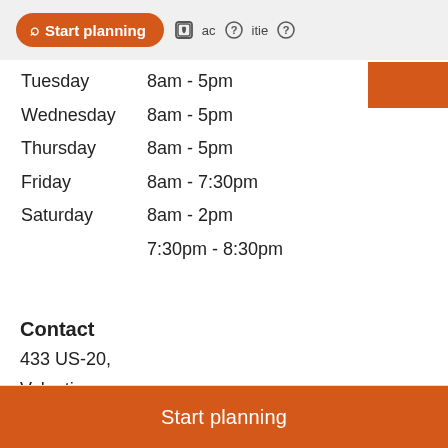Start planning  activities
| Day | Hours |
| --- | --- |
| Tuesday | 8am - 5pm |
| Wednesday | 8am - 5pm |
| Thursday | 8am - 5pm |
| Friday | 8am - 7:30pm |
| Saturday | 8am - 2pm |
|  | 7:30pm - 8:30pm |
Contact
433 US-20,
Valentine,
NE 69201,
USA
+1 402-376-2046
Start planning